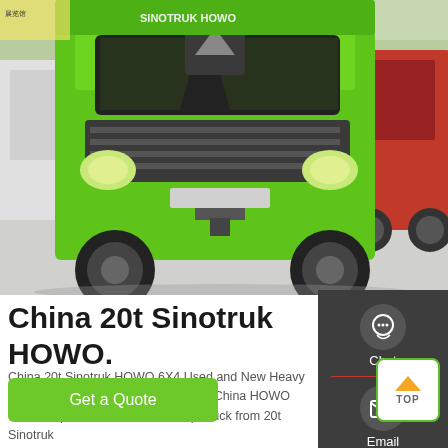[Figure (photo): Green Sinotruk HOWO heavy duty dump truck at an exhibition/showroom, front view, with other trucks visible in background]
China 20t Sinotruk HOWO.
China 20t Sinotruk HOWO 6X4 Used and New Heavy Duty Dump Truck, Find details about China HOWO 6X4 Dump Truck, 10 Wheel Dump Truck from 20t Sinotruk
Get a Quote